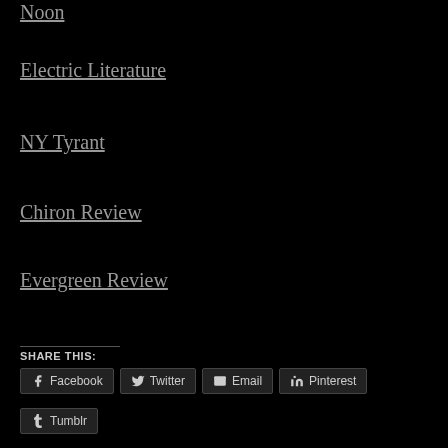Noon
Electric Literature
NY Tyrant
Chiron Review
Evergreen Review
SHARE THIS:
Facebook  Twitter  Email  Pinterest  Tumblr